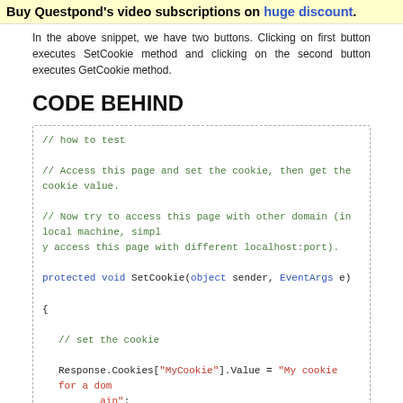Buy Questpond's video subscriptions on huge discount.
In the above snippet, we have two buttons. Clicking on first button executes SetCookie method and clicking on the second button executes GetCookie method.
CODE BEHIND
[Figure (screenshot): Code block showing C# code-behind with comments and SetCookie method implementation using Response.Cookies]